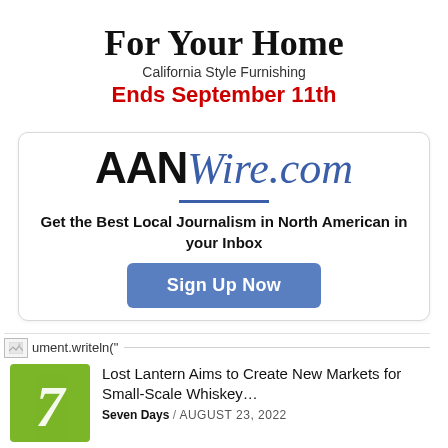For Your Home
California Style Furnishing
Ends September 11th
[Figure (logo): AANWire.com logo with bold black AAN and italic blue Wire.com text, underlined]
Get the Best Local Journalism in North American in your Inbox
Sign Up Now
ument.writeln("
Lost Lantern Aims to Create New Markets for Small-Scale Whiskey…
Seven Days / AUGUST 23, 2022